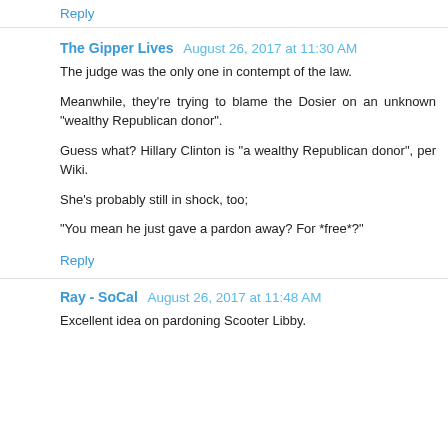Reply
The Gipper Lives  August 26, 2017 at 11:30 AM
The judge was the only one in contempt of the law.

Meanwhile, they're trying to blame the Dosier on an unknown "wealthy Republican donor".

Guess what? Hillary Clinton is "a wealthy Republican donor", per Wiki.

She's probably still in shock, too;

"You mean he just gave a pardon away? For *free*?"
Reply
Ray - SoCal  August 26, 2017 at 11:48 AM
Excellent idea on pardoning Scooter Libby.